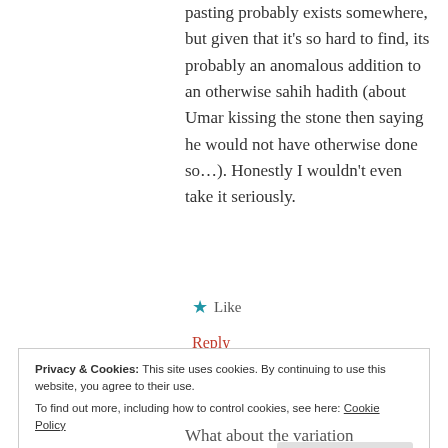pasting probably exists somewhere, but given that it's so hard to find, its probably an anomalous addition to an otherwise sahih hadith (about Umar kissing the stone then saying he would not have otherwise done so...). Honestly I wouldn't even take it seriously.
★ Like
Reply
Privacy & Cookies: This site uses cookies. By continuing to use this website, you agree to their use.
To find out more, including how to control cookies, see here: Cookie Policy
Close and accept
What about the variation